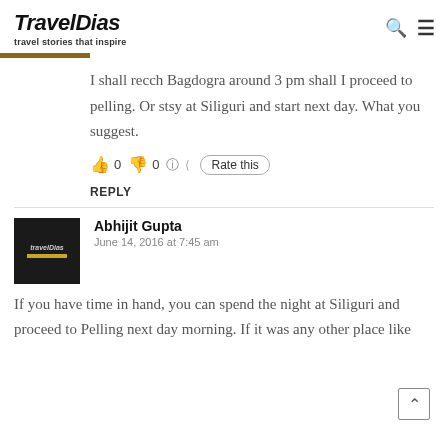TravelDias — travel stories that inspire
I shall recch Bagdogra around 3 pm shall I proceed to pelling. Or stsy at Siliguri and start next day. What you suggest.
👍 0 👎 0 ℹ Rate this
REPLY
Abhijit Gupta
June 14, 2016 at 7:45 am
If you have time in hand, you can spend the night at Siliguri and proceed to Pelling next day morning. If it was any other place like